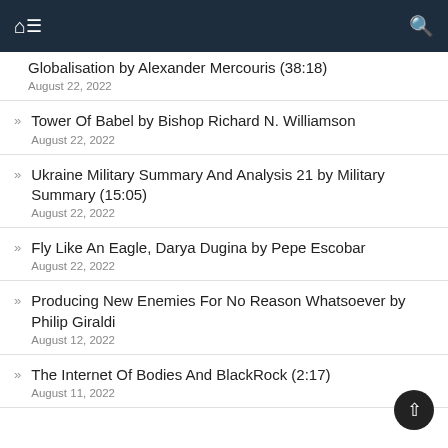Navigation bar with home, menu, and search icons
Globalisation by Alexander Mercouris (38:18)
August 22, 2022
Tower Of Babel by Bishop Richard N. Williamson
August 22, 2022
Ukraine Military Summary And Analysis 21 by Military Summary (15:05)
August 22, 2022
Fly Like An Eagle, Darya Dugina by Pepe Escobar
August 22, 2022
Producing New Enemies For No Reason Whatsoever by Philip Giraldi
August 12, 2022
The Internet Of Bodies And BlackRock (2:17)
August 11, 2022